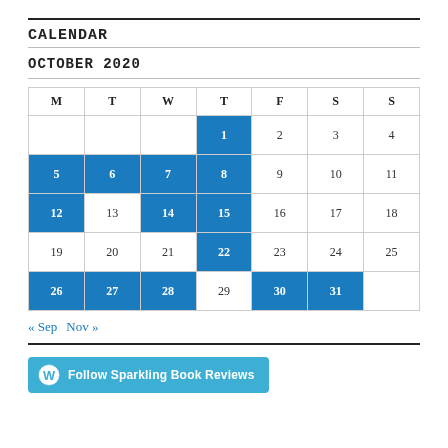CALENDAR
OCTOBER 2020
| M | T | W | T | F | S | S |
| --- | --- | --- | --- | --- | --- | --- |
|  |  |  | 1 | 2 | 3 | 4 |
| 5 | 6 | 7 | 8 | 9 | 10 | 11 |
| 12 | 13 | 14 | 15 | 16 | 17 | 18 |
| 19 | 20 | 21 | 22 | 23 | 24 | 25 |
| 26 | 27 | 28 | 29 | 30 | 31 |  |
« Sep   Nov »
[Figure (other): Follow Sparkling Book Reviews button with WordPress logo]